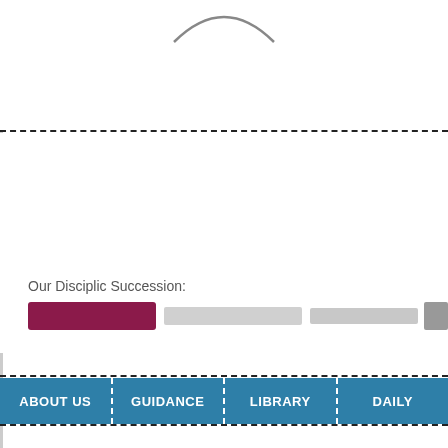[Figure (illustration): Partial arc/curve shape at the top center of the page, resembling the top of a logo or decorative element]
Our Disciplic Succession:
[Figure (photo): A horizontal strip of partially visible images: a dark maroon/purple image on the left, light gray/white images in the middle, and a dark image cropped on the right edge]
ABOUT US | GUIDANCE | LIBRARY | DAILY